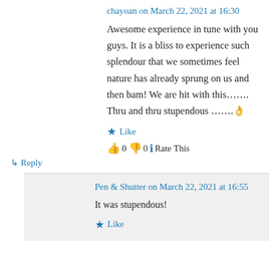chayoan on March 22, 2021 at 16:30
Awesome experience in tune with you guys. It is a bliss to experience such splendour that we sometimes feel nature has already sprung on us and then bam! We are hit with this……. Thru and thru stupendous …….👌
★ Like
👍 0 👎 0 ℹ Rate This
↳ Reply
Pen & Shutter on March 22, 2021 at 16:55
It was stupendous!
★ Like